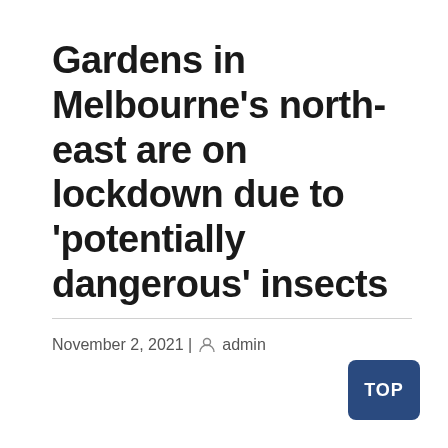Gardens in Melbourne’s north-east are on lockdown due to ‘potentially dangerous’ insects
November 2, 2021 | admin